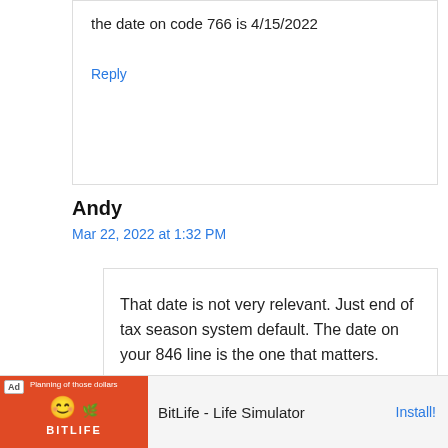the date on code 766 is 4/15/2022
Reply
Andy
Mar 22, 2022 at 1:32 PM
That date is not very relevant. Just end of tax season system default. The date on your 846 line is the one that matters.
Reply
[Figure (screenshot): Advertisement banner for BitLife - Life Simulator app with Install button]